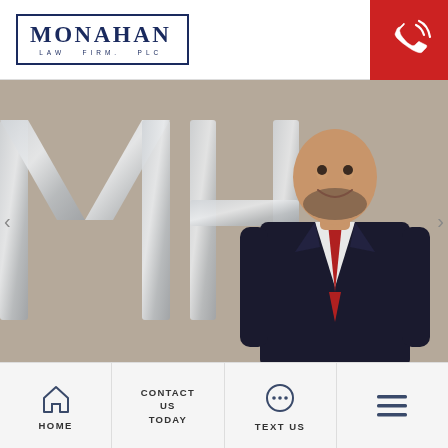[Figure (logo): Monahan Law Firm, PLC logo — dark navy rectangle border with 'MONAHAN' in large serif text and 'LAW FIRM. PLC' in small spaced caps below]
[Figure (illustration): Red square button with white phone/call icon (ringing telephone with signal waves)]
[Figure (photo): Hero carousel image: a bald man in a dark suit and red tie smiling, standing in front of a large silver metallic M H letter wall sign in a law office]
HOME
CONTACT US TODAY
TEXT US
[Figure (illustration): Three horizontal lines (hamburger menu icon)]